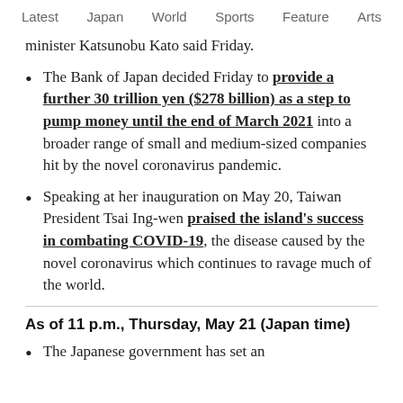Latest   Japan   World   Sports   Feature   Arts
minister Katsunobu Kato said Friday.
The Bank of Japan decided Friday to provide a further 30 trillion yen ($278 billion) as a step to pump money until the end of March 2021 into a broader range of small and medium-sized companies hit by the novel coronavirus pandemic.
Speaking at her inauguration on May 20, Taiwan President Tsai Ing-wen praised the island's success in combating COVID-19, the disease caused by the novel coronavirus which continues to ravage much of the world.
As of 11 p.m., Thursday, May 21 (Japan time)
The Japanese government has set an